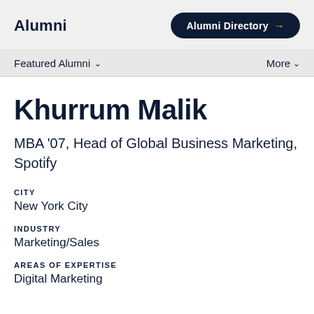Alumni
Alumni Directory →
Featured Alumni ∨
More ∨
Khurrum Malik
MBA '07, Head of Global Business Marketing, Spotify
CITY
New York City
INDUSTRY
Marketing/Sales
AREAS OF EXPERTISE
Digital Marketing